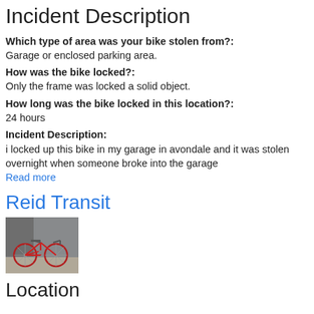Incident Description
Which type of area was your bike stolen from?:
Garage or enclosed parking area.
How was the bike locked?:
Only the frame was locked a solid object.
How long was the bike locked in this location?:
24 hours
Incident Description:
i locked up this bike in my garage in avondale and it was stolen overnight when someone broke into the garage
Read more
Reid Transit
[Figure (photo): Photo of a red bicycle leaning against a wall on a sidewalk]
Location